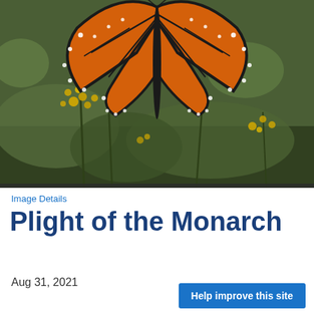[Figure (photo): Close-up photo of a monarch butterfly with orange and black wings, perched above yellow wildflowers (goldenrod) against a blurred green background.]
Image Details
Plight of the Monarch
Aug 31, 2021
Help improve this site